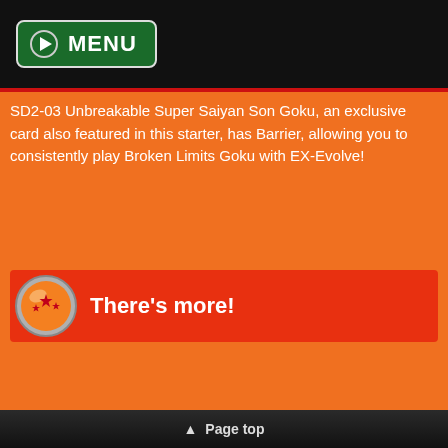[Figure (screenshot): Green MENU button with play icon on black top bar]
SD2-03 Unbreakable Super Saiyan Son Goku, an exclusive card also featured in this starter, has Barrier, allowing you to consistently play Broken Limits Goku with EX-Evolve!
There's more!
▲ Page top